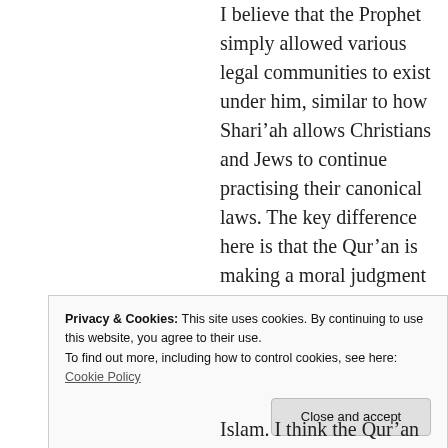I believe that the Prophet simply allowed various legal communities to exist under him, similar to how Shari'ah allows Christians and Jews to continue practising their canonical laws. The key difference here is that the Qur'an is making a moral judgment on these people of the book: a Jew who tries to abide by the Torah law is
Privacy & Cookies: This site uses cookies. By continuing to use this website, you agree to their use.
To find out more, including how to control cookies, see here: Cookie Policy
Close and accept
Islam. I think the Qur'an is